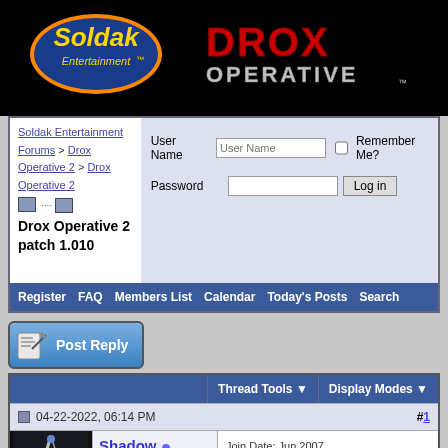[Figure (logo): Soldak Entertainment logo - gold text on blue oval with orange border]
[Figure (logo): Drox Operative logo - stylized red and silver text]
Soldak Entertainment Forums > Drox Operative 2 > Drox Operative 2
Drox Operative 2 patch 1.010
User Name | Password | Remember Me? | Log in
Register  FAQ  Members List  Calendar  Today's Posts  Search
[Figure (screenshot): Post Reply button with pencil/paper icon]
Thread Tools  Display Modes
04-22-2022, 06:14 PM  #1
[Figure (photo): Shadow user avatar - sword/dagger image on dark background]
Shadow
Super Moderator
Join Date: Jun 2007
Location: Dallas, TX
Posts: 9,760